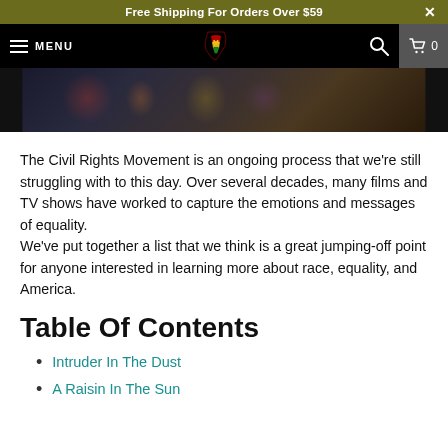Free Shipping For Orders Over $59
[Figure (screenshot): Black navigation bar with hamburger menu and MENU text on left, Africa-shaped logo with Pan-African colors in center, search icon and cart icon with 0 on right]
[Figure (photo): Dark hero image strip showing people at what appears to be a civil rights or protest gathering]
The Civil Rights Movement is an ongoing process that we're still struggling with to this day. Over several decades, many films and TV shows have worked to capture the emotions and messages of equality. We've put together a list that we think is a great jumping-off point for anyone interested in learning more about race, equality, and America.
Table Of Contents
Intruder In The Dust
A Raisin In The Sun